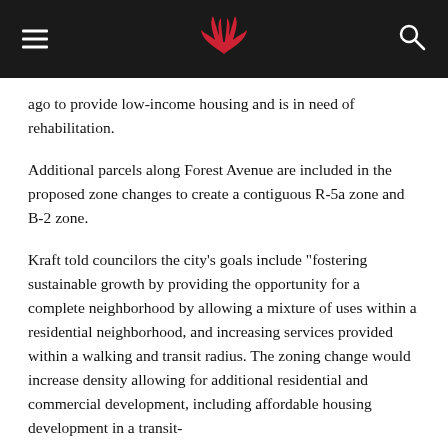[navigation header with hamburger menu, bird logo, and search icon]
ago to provide low-income housing and is in need of rehabilitation.
Additional parcels along Forest Avenue are included in the proposed zone changes to create a contiguous R-5a zone and B-2 zone.
Kraft told councilors the city’s goals include “fostering sustainable growth by providing the opportunity for a complete neighborhood by allowing a mixture of uses within a residential neighborhood, and increasing services provided within a walking and transit radius. The zoning change would increase density allowing for additional residential and commercial development, including affordable housing development in a transit-